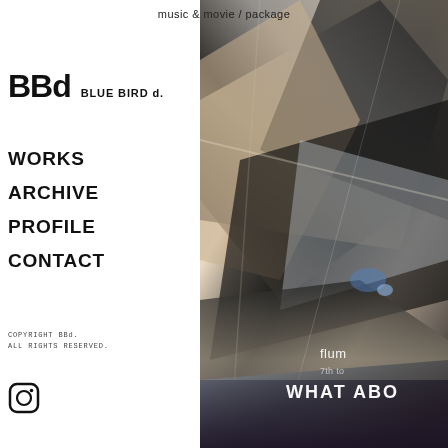music & movie / package
BBd BLUE BIRD d.
WORKS
ARCHIVE
PROFILE
CONTACT
COPYRIGHT BBd.
ALL RIGHTS RESERVED.
[Figure (illustration): Abstract metallic/chrome reflective sculptural surface photograph, with text overlay showing 'flum', '7th to', 'WHAT ABO']
[Figure (logo): Instagram icon (circle with camera outline)]